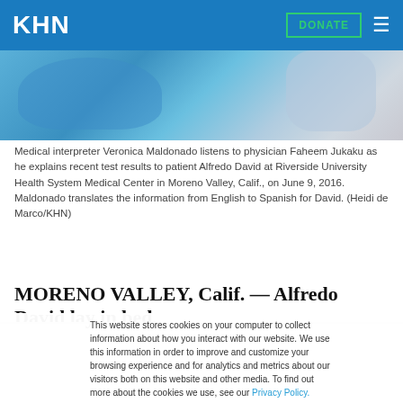KHN
[Figure (photo): Medical photo showing medical interpreter Veronica Maldonado and physician Faheem Jukaku with patient Alfredo David at Riverside University Health System Medical Center]
Medical interpreter Veronica Maldonado listens to physician Faheem Jukaku as he explains recent test results to patient Alfredo David at Riverside University Health System Medical Center in Moreno Valley, Calif., on June 9, 2016. Maldonado translates the information from English to Spanish for David. (Heidi de Marco/KHN)
MORENO VALLEY, Calif. — Alfredo David lay in bed,
This website stores cookies on your computer to collect information about how you interact with our website. We use this information in order to improve and customize your browsing experience and for analytics and metrics about our visitors both on this website and other media. To find out more about the cookies we use, see our Privacy Policy.
Accept